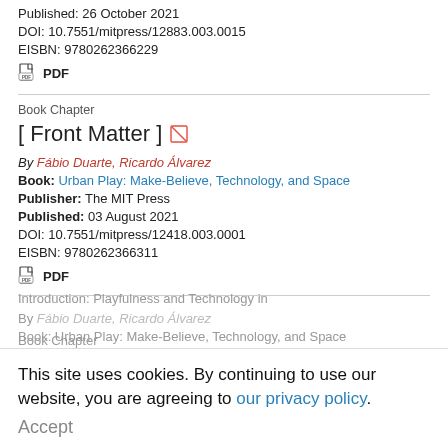Published: 26 October 2021
DOI: 10.7551/mitpress/12883.003.0015
EISBN: 9780262366229
PDF
Book Chapter
[Front Matter]
By Fábio Duarte, Ricardo Álvarez
Book: Urban Play: Make-Believe, Technology, and Space
Publisher: The MIT Press
Published: 03 August 2021
DOI: 10.7551/mitpress/12418.003.0001
EISBN: 9780262366311
PDF
Book Chapter
This site uses cookies. By continuing to use our website, you are agreeing to our privacy policy.
Accept